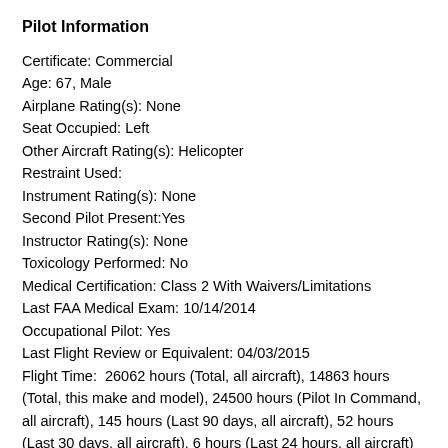Pilot Information
Certificate: Commercial
Age: 67, Male
Airplane Rating(s): None
Seat Occupied: Left
Other Aircraft Rating(s): Helicopter
Restraint Used:
Instrument Rating(s): None
Second Pilot Present:Yes
Instructor Rating(s): None
Toxicology Performed: No
Medical Certification: Class 2 With Waivers/Limitations
Last FAA Medical Exam: 10/14/2014
Occupational Pilot: Yes
Last Flight Review or Equivalent: 04/03/2015
Flight Time:  26062 hours (Total, all aircraft), 14863 hours (Total, this make and model), 24500 hours (Pilot In Command, all aircraft), 145 hours (Last 90 days, all aircraft), 52 hours (Last 30 days, all aircraft), 6 hours (Last 24 hours, all aircraft)